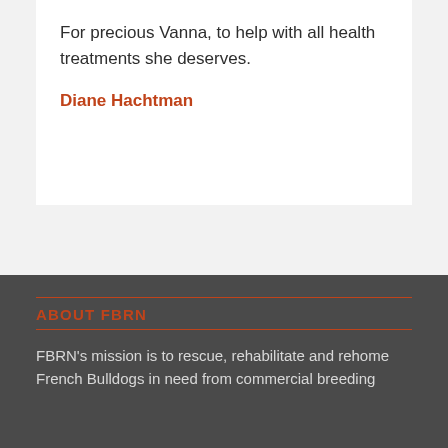For precious Vanna, to help with all health treatments she deserves.
Diane Hachtman
ABOUT FBRN
FBRN's mission is to rescue, rehabilitate and rehome French Bulldogs in need from commercial breeding